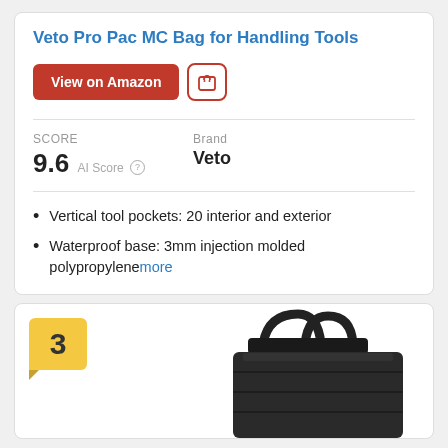Veto Pro Pac MC Bag for Handling Tools
View on Amazon
SCORE
9.6 AI Score
Brand
Veto
Vertical tool pockets: 20 interior and exterior
Waterproof base: 3mm injection molded polypropylene more
[Figure (photo): Number badge '3' in yellow/gold color with a tag shape, above a partial photo of a black tool bag with handles visible]